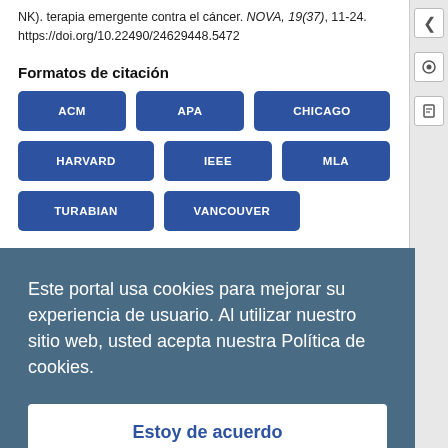NK). terapia emergente contra el cáncer. NOVA, 19(37), 11-24. https://doi.org/10.22490/24629448.5472
Formatos de citación
[Figure (other): Citation format buttons: ACM, APA, CHICAGO, HARVARD, IEEE, MLA, TURABIAN, VANCOUVER]
Descargar Cita
Este portal usa cookies para mejorar su experiencia de usuario. Al utilizar nuestro sitio web, usted acepta nuestra Política de cookies.
Estoy de acuerdo